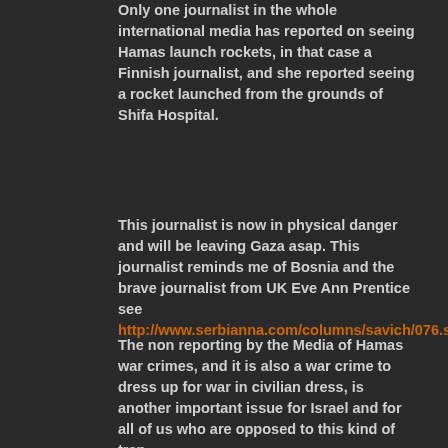Only one journalist in the whole international media has reported on seeing Hamas launch rockets, in that case a Finnish journalist, and she reported seeing a rocket launched from the grounds of Shifa Hospital.
This journalist is now in physical danger and will be leaving Gaza asap. This journalist reminds me of Bosnia and the brave journalist from UK Eve Ann Prentice see http://www.serbianna.com/columns/savich/076.shtml
The non reporting by the Media of Hamas war crimes, and it is also a war crime to dress up for war in civilian dress, is another important issue for Israel and for all of us who are opposed to this kind of trap.